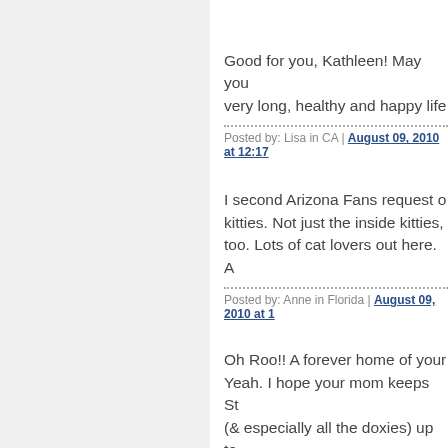Good for you, Kathleen! May you live a very long, healthy and happy life
Posted by: Lisa in CA | August 09, 2010 at 12:17
I second Arizona Fans request on kitties. Not just the inside kitties, too. Lots of cat lovers out here. A
Posted by: Anne in Florida | August 09, 2010 at 1
Oh Roo!! A forever home of your Yeah. I hope your mom keeps St (& especially all the doxies) up to your progress. We out here LOV happy ending are going (hint, hin adopted b4...Levi, Timmy, Gabe, Baron etc..... We LOVE updates